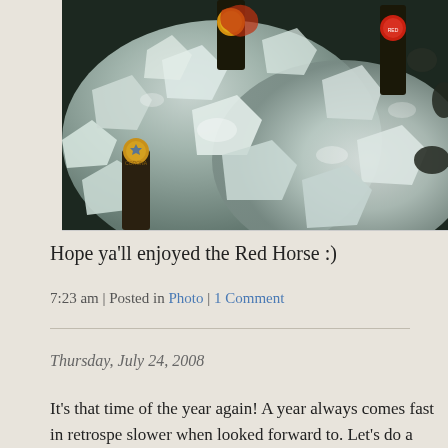[Figure (photo): Beer bottles in crushed ice, close-up photo showing bottle caps and ice chunks]
Hope ya'll enjoyed the Red Horse :)
7:23 am | Posted in Photo | 1 Comment
Thursday, July 24, 2008
It's that time of the year again! A year always comes fast in retrospe slower when looked forward to. Let's do a recap. I was going to wr blurbs, then thought pictures would be better, but changed my min